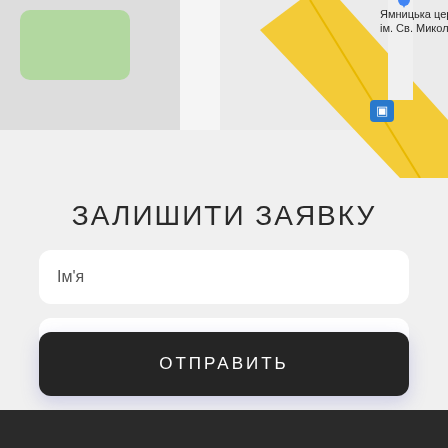[Figure (map): Google Maps partial view showing streets, a green area (park), a yellow diagonal road, a bus stop icon, and a label reading 'Ямницька церква ім. Св. Миколая']
ЗАЛИШИТИ ЗАЯВКУ
Ім'я
Телефон
ОТПРАВИТЬ